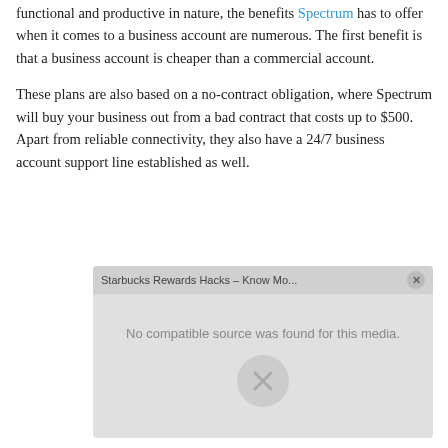functional and productive in nature, the benefits Spectrum has to offer when it comes to a business account are numerous. The first benefit is that a business account is cheaper than a commercial account.
These plans are also based on a no-contract obligation, where Spectrum will buy your business out from a bad contract that costs up to $500. Apart from reliable connectivity, they also have a 24/7 business account support line established as well.
[Figure (screenshot): A media player widget showing 'Starbucks Rewards Hacks – Know Mo...' with a gray background, a close button, and the message 'No compatible source was found for this media.' with an X icon.]